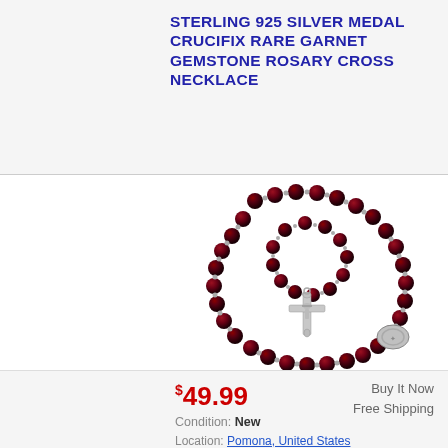STERLING 925 SILVER MEDAL CRUCIFIX RARE GARNET GEMSTONE ROSARY CROSS NECKLACE
[Figure (photo): A garnet gemstone rosary necklace with deep red round beads, silver chain links, a silver crucifix pendant in the center, and a decorative silver centerpiece, arranged in a loose coiled pile on a white background.]
$49.99
Buy It Now
Free Shipping
Condition: New
Location: Pomona, United States